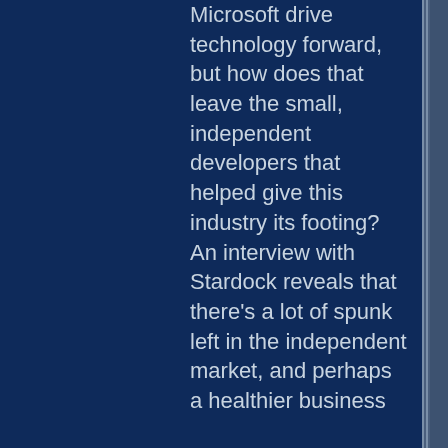Microsoft drive technology forward, but how does that leave the small, independent developers that helped give this industry its footing? An interview with Stardock reveals that there's a lot of spunk left in the independent market, and perhaps a healthier business